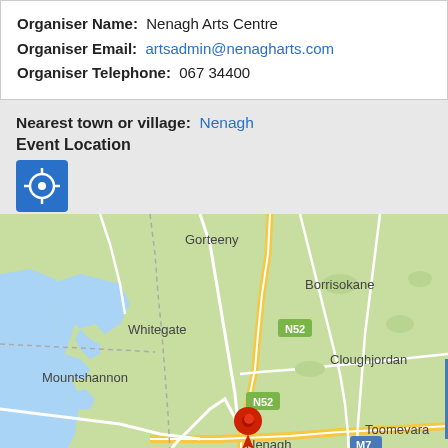Organiser Name: Nenagh Arts Centre
Organiser Email: artsadmin@nenagharts.com
Organiser Telephone: 067 34400
Nearest town or village: Nenagh
Event Location
[Figure (map): Google Maps screenshot showing Nenagh, Ireland area with a red location pin at Nenagh Benedine. Surrounding places include Gorteeny, Whitegate, Mountshannon, Killaloe, Borrisokane, Cloughjordan, Toomevara. Roads N52 and M7 are visible. Lough Derg (blue water) is on the left side.]